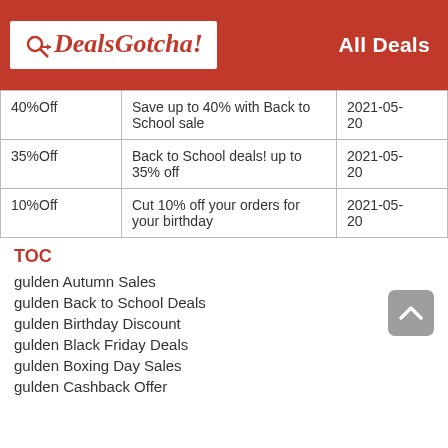DealsGotcha! All Deals
| Discount | Description | Date |
| --- | --- | --- |
| 40%Off | Save up to 40% with Back to School sale | 2021-05-20 |
| 35%Off | Back to School deals! up to 35% off | 2021-05-20 |
| 10%Off | Cut 10% off your orders for your birthday | 2021-05-20 |
TOC
gulden Autumn Sales
gulden Back to School Deals
gulden Birthday Discount
gulden Black Friday Deals
gulden Boxing Day Sales
gulden Cashback Offer